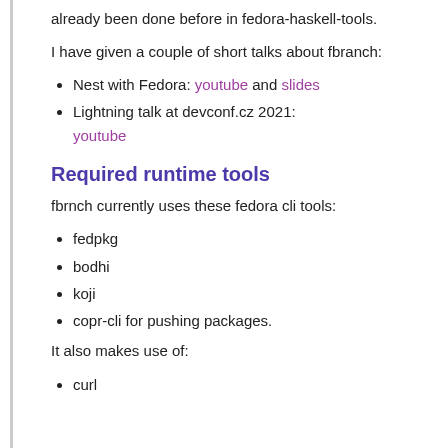already been done before in fedora-haskell-tools.
I have given a couple of short talks about fbranch:
Nest with Fedora: youtube and slides
Lightning talk at devconf.cz 2021: youtube
Required runtime tools
fbrnch currently uses these fedora cli tools:
fedpkg
bodhi
koji
copr-cli for pushing packages.
It also makes use of:
curl